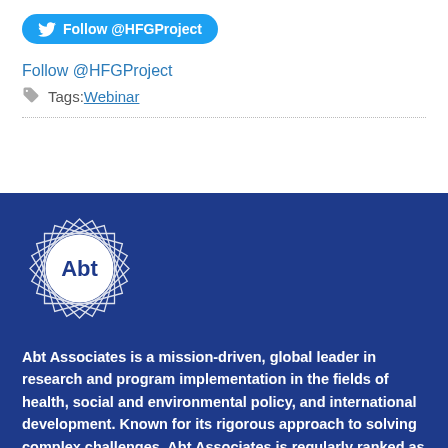Follow @HFGProject
Tags: Webinar
[Figure (logo): Abt Associates logo: white circular badge with geometric star/diamond outline pattern and 'Abt' text in center, on dark blue background]
Abt Associates is a mission-driven, global leader in research and program implementation in the fields of health, social and environmental policy, and international development. Known for its rigorous approach to solving complex challenges, Abt Associates is regularly ranked as one of the top 20 global research firms and one of the top 40 international development innovators. The company has multiple offices in the U.S. and program offices in more than 40 countries.